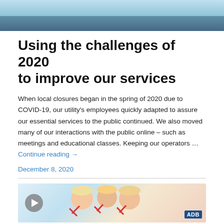[Figure (photo): Top portion of a photo showing a facility floor with a person standing, industrial grating visible]
Using the challenges of 2020 to improve our services
When local closures began in the spring of 2020 due to COVID-19, our utility's employees quickly adapted to assure our essential services to the public continued. We also moved many of our interactions with the public online – such as meetings and educational classes. Keeping our operators … Continue reading →
December 8, 2020
[Figure (photo): Video thumbnail showing workers in hard hats smiling and holding up hands with scissors gesture, ADB logo in corner, play button overlay]